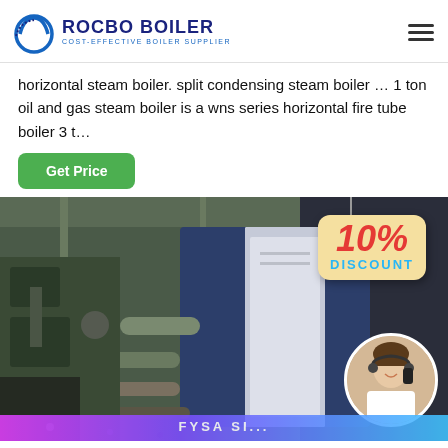ROCBO BOILER — COST-EFFECTIVE BOILER SUPPLIER
horizontal steam boiler. split condensing steam boiler … 1 ton oil and gas steam boiler is a wns series horizontal fire tube boiler 3 t…
Get Price
[Figure (photo): Industrial boiler equipment in a factory setting with a 10% DISCOUNT badge overlay and a customer service representative in a circular photo in the bottom right corner. Bottom bar shows partial text.]